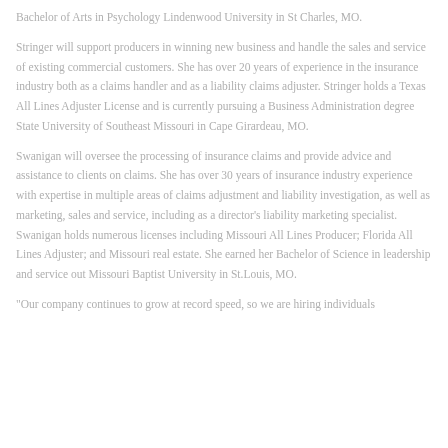Bachelor of Arts in Psychology Lindenwood University in St Charles, MO.
Stringer will support producers in winning new business and handle the sales and service of existing commercial customers. She has over 20 years of experience in the insurance industry both as a claims handler and as a liability claims adjuster. Stringer holds a Texas All Lines Adjuster License and is currently pursuing a Business Administration degree State University of Southeast Missouri in Cape Girardeau, MO.
Swanigan will oversee the processing of insurance claims and provide advice and assistance to clients on claims. She has over 30 years of insurance industry experience with expertise in multiple areas of claims adjustment and liability investigation, as well as marketing, sales and service, including as a director's liability marketing specialist. Swanigan holds numerous licenses including Missouri All Lines Producer; Florida All Lines Adjuster; and Missouri real estate. She earned her Bachelor of Science in leadership and service out Missouri Baptist University in St.Louis, MO.
"Our company continues to grow at record speed, so we are hiring individuals